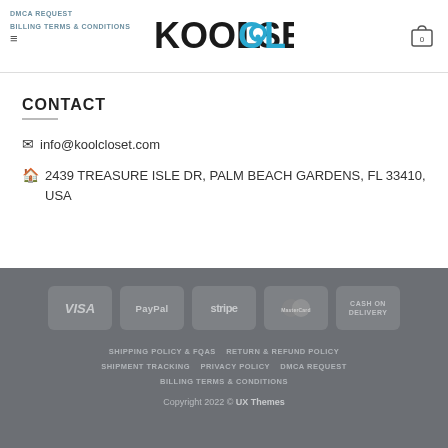DMCA REQUEST  BILLING TERMS & CONDITIONS  KOOLCLOSET  0
CONTACT
✉ info@koolcloset.com
🏠 2439 TREASURE ISLE DR, PALM BEACH GARDENS, FL 33410, USA
VISA  PayPal  stripe  MasterCard  CASH ON DELIVERY  SHIPPING POLICY & FQAS  RETURN & REFUND POLICY  SHIPMENT TRACKING  PRIVACY POLICY  DMCA REQUEST  BILLING TERMS & CONDITIONS  Copyright 2022 © UX Themes